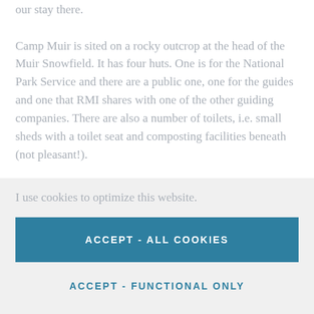our stay there.
Camp Muir is sited on a rocky outcrop at the head of the Muir Snowfield.  It has four huts. One is for the National Park Service and there are a public one, one for the guides and one that RMI shares with one of the other guiding companies.  There are also a number of toilets, i.e. small sheds with a toilet seat and composting facilities beneath (not pleasant!).
I use cookies to optimize this website.
ACCEPT - ALL COOKIES
ACCEPT - FUNCTIONAL ONLY